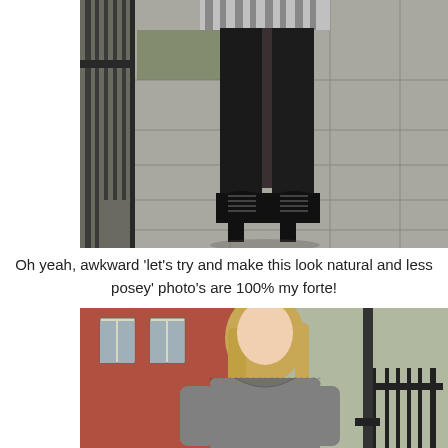[Figure (photo): Close-up photo of a person's legs wearing black tights and black lace-up heeled ankle boots, standing on a paved sidewalk. A grey pleated skirt is partially visible at the top. Metal fence on the left, greenery and pavement visible in background.]
Oh yeah, awkward 'let's try and make this look natural and less posey' photo's are 100% my forte!
[Figure (photo): Photo of a young blonde woman wearing a grey knit sweater, looking down, standing outdoors on a street. A red brick building and iron fence are visible in the background.]